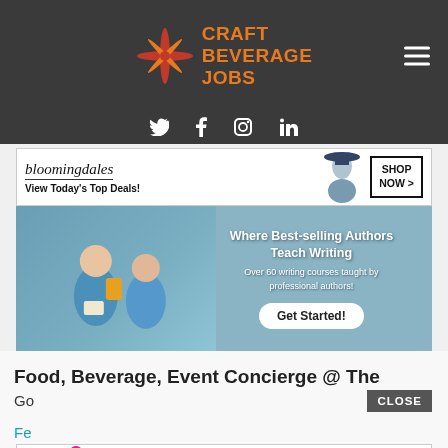CRAFT BEVERAGE JOBS
[Figure (logo): Craft Beverage Jobs logo with starburst icon and orange text]
[Figure (infographic): Social media icons: Twitter, Facebook, Instagram, LinkedIn]
[Figure (photo): Bloomingdales advertisement banner: View Today's Top Deals! SHOP NOW >]
[Figure (photo): Writing course advertisement: Where Best-selling Authors Teach Writing. Over 60 writing courses taught by professional authors! Get Started!]
Food, Beverage, Event Concierge @ The
Go
CLOSE
Fe
[Figure (photo): MAC cosmetics advertisement with lipsticks. SHOP NOW button.]